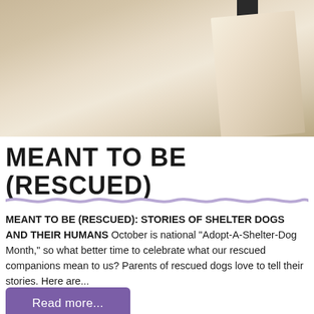[Figure (photo): Close-up photo of cream/beige fleece or soft fabric, possibly a dog bed or blanket, with a dark hanger visible at the top right.]
MEANT TO BE (RESCUED)
[Figure (illustration): Decorative wavy purple/lavender horizontal divider line]
MEANT TO BE (RESCUED): STORIES OF SHELTER DOGS AND THEIR HUMANS October is national “Adopt-A-Shelter-Dog Month,” so what better time to celebrate what our rescued companions mean to us? Parents of rescued dogs love to tell their stories. Here are...
Read more...